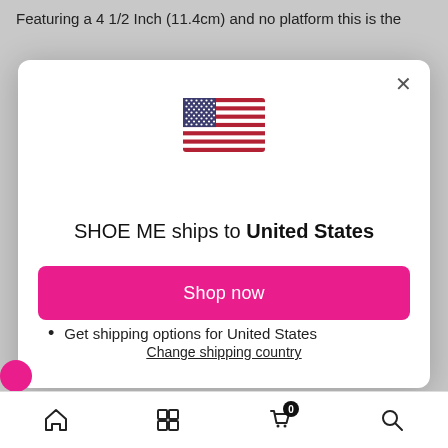Featuring a 4 1/2 Inch (11.4cm) and no platform this is the
[Figure (screenshot): Modal dialog overlay on a shopping website. Contains a US flag emoji/illustration, heading 'SHOE ME ships to United States', bullet points 'Shop in AUD $' and 'Get shipping options for United States', a pink 'Shop now' button, and a 'Change shipping country' underlined link. A close X button is in the top right corner of the modal.]
Home | Grid | Cart (0) | Search